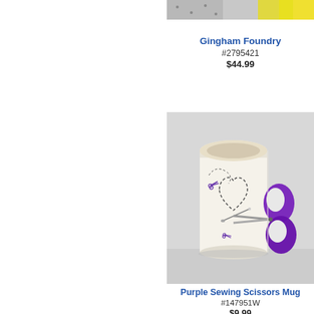[Figure (photo): Partial top view of a product (Gingham Foundry item) — only bottom edge of image visible at top right]
Gingham Foundry
#2795421
$44.99
[Figure (photo): White ceramic mug with purple scissors as handle, decorated with sewing-themed dashed line patterns and small scissors illustrations on white/gray background]
Purple Sewing Scissors Mug
#147951W
$9.99